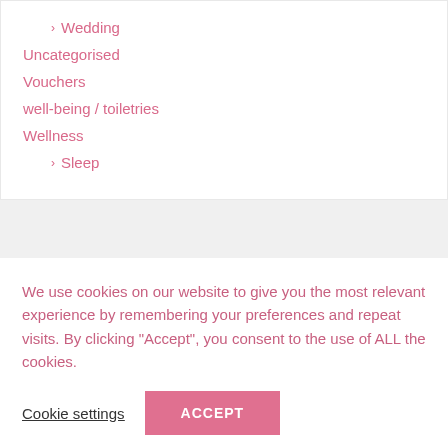> Wedding
Uncategorised
Vouchers
well-being / toiletries
Wellness
> Sleep
We use cookies on our website to give you the most relevant experience by remembering your preferences and repeat visits. By clicking “Accept”, you consent to the use of ALL the cookies.
Cookie settings  ACCEPT